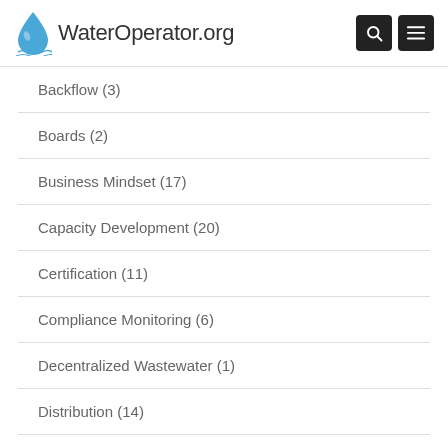WaterOperator.org
Backflow (3)
Boards (2)
Business Mindset (17)
Capacity Development (20)
Certification (11)
Compliance Monitoring (6)
Decentralized Wastewater (1)
Distribution (14)
Drinking Water (1)